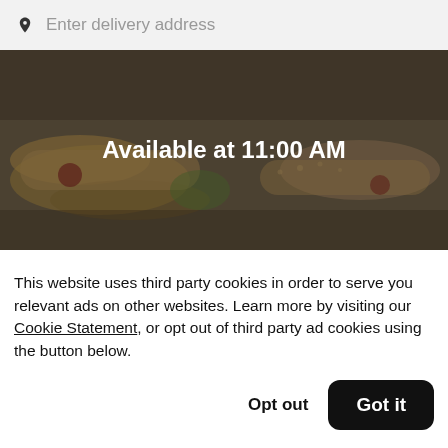Enter delivery address
[Figure (photo): Hero image of Firehouse Subs food items (subs/sandwiches) with a dark overlay showing the text 'Available at 11:00 AM']
Firehouse Subs - Kingston West
This website uses third party cookies in order to serve you relevant ads on other websites. Learn more by visiting our Cookie Statement, or opt out of third party ad cookies using the button below.
Opt out
Got it